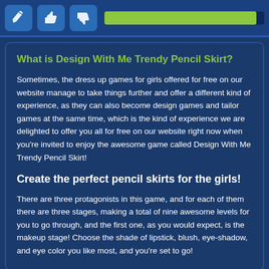[Figure (infographic): Top navigation bar with three icon buttons (pencil/edit, thumbs up, thumbs down) and a nearly full green progress bar]
What is Design With Me Trendy Pencil Skirt?
Sometimes, the dress up games for girls offered for free on our website manage to take things further and offer a different kind of experience, as they can also become design games and tailor games at the same time, which is the kind of experience we are delighted to offer you all for free on our website right now when you're invited to enjoy the awesome game called Design With Me Trendy Pencil Skirt!
Create the perfect pencil skirts for the girls!
There are three protagonists in this game, and for each of them there are three stages, making a total of nine awesome levels for you to go through, and the first one, as you would expect, is the makeup stage! Choose the shade of lipstick, blush, eye-shadow, and eye color you like most, and you're set to go!